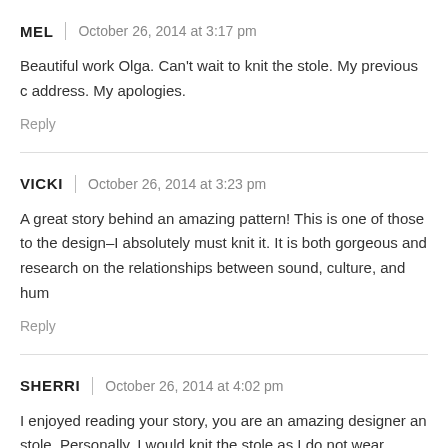MEL | October 26, 2014 at 3:17 pm
Beautiful work Olga. Can't wait to knit the stole. My previous c address. My apologies.
Reply
VICKI | October 26, 2014 at 3:23 pm
A great story behind an amazing pattern! This is one of those to the design–I absolutely must knit it. It is both gorgeous and research on the relationships between sound, culture, and hum
Reply
SHERRI | October 26, 2014 at 4:02 pm
I enjoyed reading your story, you are an amazing designer an stole. Personally, I would knit the stole as I do not wear shawls